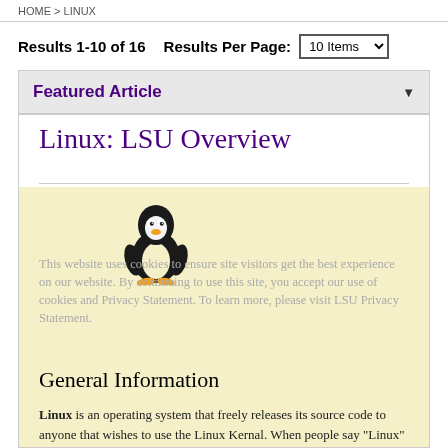HOME > LINUX
Results 1-10 of 16   Results Per Page:  10 Items
Featured Article
Linux: LSU Overview
[Figure (illustration): Tux the Linux penguin mascot illustration]
This website uses cookies to ensure site visitors get the best experience on our website. By continuing to use this site, you accept our use of cookies and Privacy Statement. To learn more, please visit LSU Privacy Statement.
General Information
Linux is an operating system that freely releases its source code to anyone that wishes to use the Linux Kernal. When people say "Linux" they are usually talking about a specific Linux distribution. If you are talking about just the operating system the technical term is Linux kernel. A Linux distribution is considered to be the
I agree.